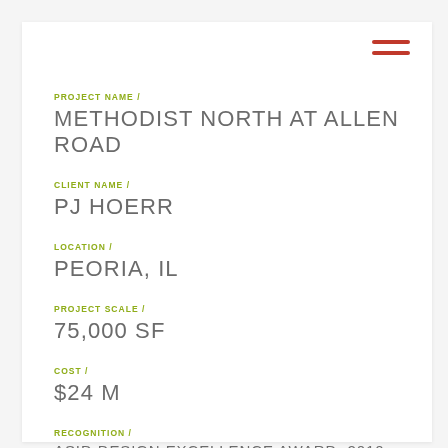PROJECT NAME /
METHODIST NORTH AT ALLEN ROAD
CLIENT NAME /
PJ HOERR
LOCATION /
PEORIA, IL
PROJECT SCALE /
75,000 SF
COST /
$24 M
RECOGNITION /
ASID DESIGN EXCELLENCE AWARD, 2010 HONORABLE